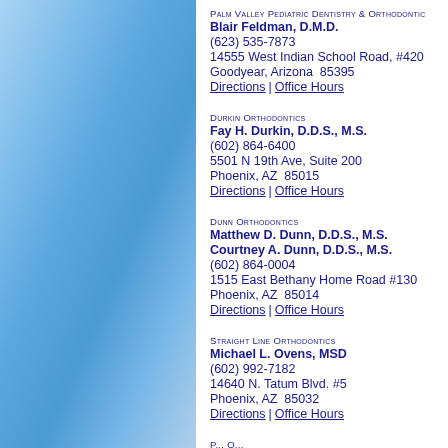[Figure (illustration): Blue gradient panel on left side of page]
Palm Valley Pediatric Dentistry & Orthodontics
Blair Feldman, D.M.D.
(623) 535-7873
14555 West Indian School Road, #420
Goodyear, Arizona  85395
Directions | Office Hours
Durkin Orthodontics
Fay H. Durkin, D.D.S., M.S.
(602) 864-6400
5501 N 19th Ave, Suite 200
Phoenix, AZ  85015
Directions | Office Hours
Dunn Orthodontics
Matthew D. Dunn, D.D.S., M.S.
Courtney A. Dunn, D.D.S., M.S.
(602) 864-0004
1515 East Bethany Home Road #130
Phoenix, AZ  85014
Directions | Office Hours
Straight Line Orthodontics
Michael L. Ovens, MSD
(602) 992-7182
14640 N. Tatum Blvd. #5
Phoenix, AZ  85032
Directions | Office Hours
P... O...